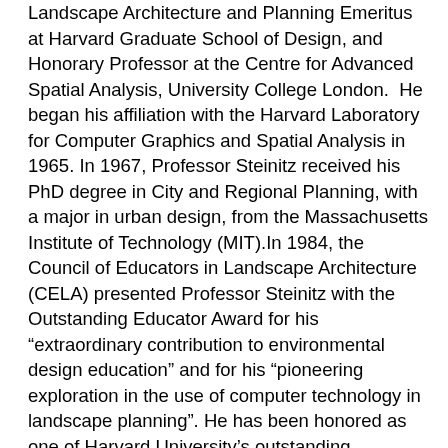Landscape Architecture and Planning Emeritus at Harvard Graduate School of Design, and Honorary Professor at the Centre for Advanced Spatial Analysis, University College London.  He began his affiliation with the Harvard Laboratory for Computer Graphics and Spatial Analysis in 1965. In 1967, Professor Steinitz received his PhD degree in City and Regional Planning, with a major in urban design, from the Massachusetts Institute of Technology (MIT).In 1984, the Council of Educators in Landscape Architecture (CELA) presented Professor Steinitz with the Outstanding Educator Award for his “extraordinary contribution to environmental design education” and for his “pioneering exploration in the use of computer technology in landscape planning”. He has been honored as one of Harvard University’s outstanding teachers. Professor Steinitz is principal author of “Alternative Futures for Changing Landscapes”, Island Press, 2003, and author of “A Framework for Geodesign”, Esri Press, 2012. He has lectured and given workshops at more than 150 universities, and has several